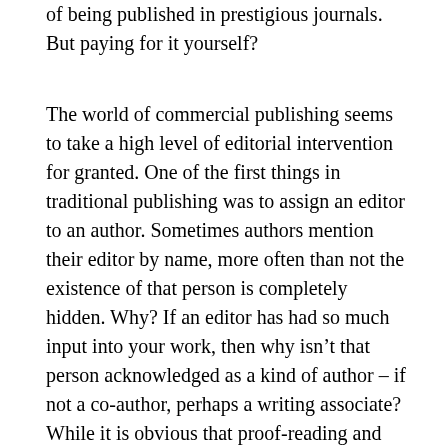of being published in prestigious journals. But paying for it yourself?
The world of commercial publishing seems to take a high level of editorial intervention for granted. One of the first things in traditional publishing was to assign an editor to an author. Sometimes authors mention their editor by name, more often than not the existence of that person is completely hidden. Why? If an editor has had so much input into your work, then why isn't that person acknowledged as a kind of author – if not a co-author, perhaps a writing associate? While it is obvious that proof-reading and minor corrections will always be required, how can the interventions of a copyeditor, let alone a developmental